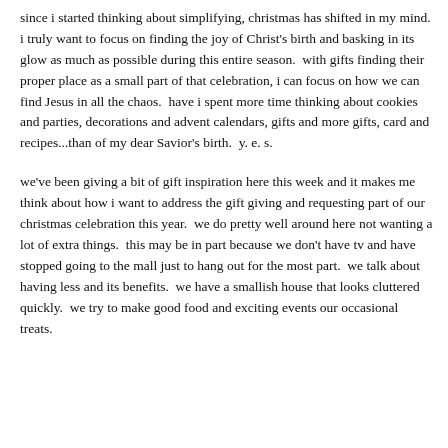then maybe we can make some progress toward a truly lovely celebration of the gift that changed everything!
since i started thinking about simplifying, christmas has shifted in my mind.  i truly want to focus on finding the joy of Christ's birth and basking in its glow as much as possible during this entire season.  with gifts finding their proper place as a small part of that celebration, i can focus on how we can find Jesus in all the chaos.  have i spent more time thinking about cookies and parties, decorations and advent calendars, gifts and more gifts, card and recipes...than of my dear Savior's birth.  y. e. s.
we've been giving a bit of gift inspiration here this week and it makes me think about how i want to address the gift giving and requesting part of our christmas celebration this year.  we do pretty well around here not wanting a lot of extra things.  this may be in part because we don't have tv and have stopped going to the mall just to hang out for the most part.  we talk about having less and its benefits.  we have a smallish house that looks cluttered quickly.  we try to make good food and exciting events our occasional treats.